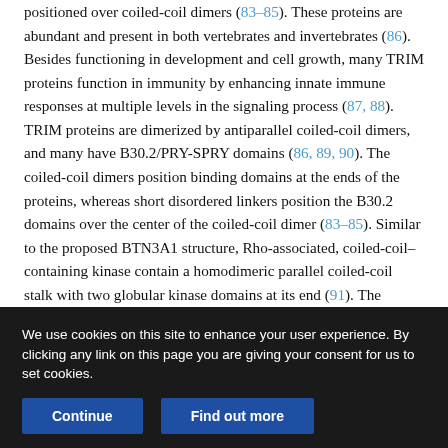positioned over coiled-coil dimers (83–85). These proteins are abundant and present in both vertebrates and invertebrates (86). Besides functioning in development and cell growth, many TRIM proteins function in immunity by enhancing innate immune responses at multiple levels in the signaling process (87, 88). TRIM proteins are dimerized by antiparallel coiled-coil dimers, and many have B30.2/PRY-SPRY domains (86, 89, 90). The coiled-coil dimers position binding domains at the ends of the proteins, whereas short disordered linkers position the B30.2 domains over the center of the coiled-coil dimer (83–85). Similar to the proposed BTN3A1 structure, Rho-associated, coiled-coil–containing kinase contain a homodimeric parallel coiled-coil stalk with two globular kinase domains at its end (91). The kinesin
We use cookies on this site to enhance your user experience. By clicking any link on this page you are giving your consent for us to set cookies.